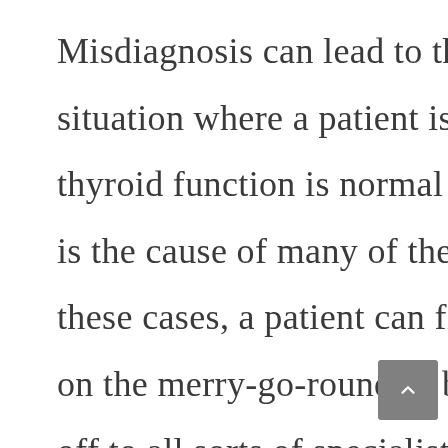Misdiagnosis can lead to the distressing situation where a patient is told that their thyroid function is normal when in fact it is the cause of many of their symptoms. In these cases, a patient can find themselves on the merry-go-round of being referred off to all sorts of specialists and being put on any number of drugs for symptomatic relief (eg. anti-depressants for mood disorders, statins for high cholesterol, contraceptive pill for period problems) when the real cause is